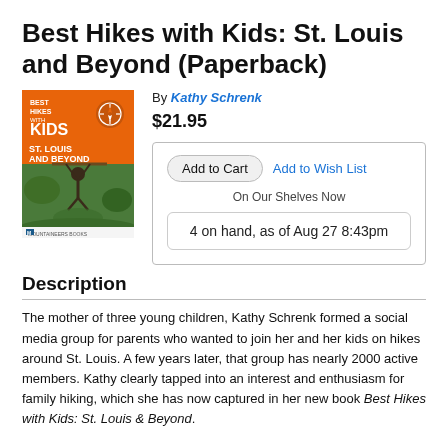Best Hikes with Kids: St. Louis and Beyond (Paperback)
[Figure (photo): Book cover of Best Hikes with Kids: St. Louis and Beyond, featuring an orange banner at top with title and compass icon, and a photo of a child hanging from a rope in a green outdoor setting.]
By Kathy Schrenk
$21.95
Add to Cart   Add to Wish List
On Our Shelves Now
4 on hand, as of Aug 27 8:43pm
Description
The mother of three young children, Kathy Schrenk formed a social media group for parents who wanted to join her and her kids on hikes around St. Louis. A few years later, that group has nearly 2000 active members. Kathy clearly tapped into an interest and enthusiasm for family hiking, which she has now captured in her new book Best Hikes with Kids: St. Louis & Beyond.